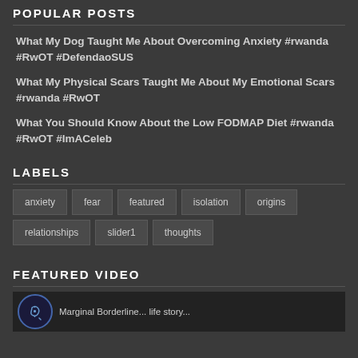POPULAR POSTS
What My Dog Taught Me About Overcoming Anxiety #rwanda #RwOT #DefendaoSUS
What My Physical Scars Taught Me About My Emotional Scars #rwanda #RwOT
What You Should Know About the Low FODMAP Diet #rwanda #RwOT #ImACeleb
LABELS
anxiety
fear
featured
isolation
origins
relationships
slider1
thoughts
FEATURED VIDEO
[Figure (screenshot): Thumbnail of a featured video with a circular brain/puzzle icon and partial text visible]